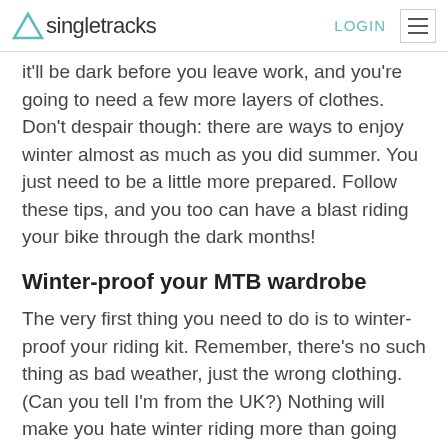singletracks | LOGIN
it'll be dark before you leave work, and you're going to need a few more layers of clothes. Don't despair though: there are ways to enjoy winter almost as much as you did summer. You just need to be a little more prepared. Follow these tips, and you too can have a blast riding your bike through the dark months!
Winter-proof your MTB wardrobe
The very first thing you need to do is to winter-proof your riding kit. Remember, there's no such thing as bad weather, just the wrong clothing. (Can you tell I'm from the UK?) Nothing will make you hate winter riding more than going out in inappropriate clothing.